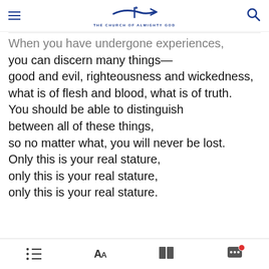THE CHURCH OF ALMIGHTY GOD
When you have undergone experiences, you can discern many things—good and evil, righteousness and wickedness, what is of flesh and blood, what is of truth. You should be able to distinguish between all of these things, so no matter what, you will never be lost. Only this is your real stature, only this is your real stature, only this is your real stature.